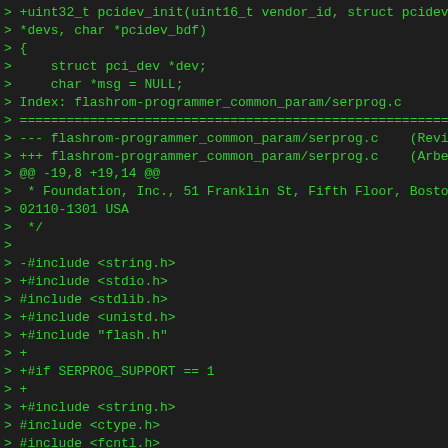> +uint32_t pcidev_init(uint16_t vendor_id, struct pcidev_sta
> *devs, char *pcidev_bdf)
> {
>     struct pci_dev *dev;
>     char *msg = NULL;
> Index: flashrom-programmer_common_param/serprog.c
> ================================================================
> --- flashrom-programmer_common_param/serprog.c    (Revision
> +++ flashrom-programmer_common_param/serprog.c    (Arbeitsk
> @@ -19,8 +19,14 @@
>  * Foundation, Inc., 51 Franklin St, Fifth Floor, Boston, M
> 02110-1301 USA
>  */
>
> -#include <string.h>
> +#include <stdio.h>
> #include <stdlib.h>
> +#include <unistd.h>
> +#include "flash.h"
> +
> +#if SERPROG_SUPPORT == 1
> +
> +#include <string.h>
> #include <ctype.h>
> #include <fcntl.h>
> #include <sys/types.h>
> @@ -31,16 +37,9 @@
> #include <netdb.h>
> #include <sys/stat.h>
> #include <errno.h>
> -#include <stdio.h>
> -#include <unistd.h>
> -#include <stdlib.h>